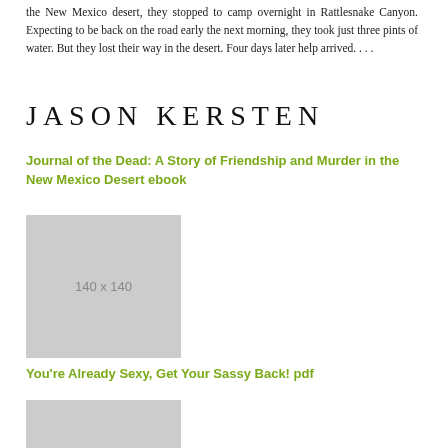the New Mexico desert, they stopped to camp overnight in Rattlesnake Canyon. Expecting to be back on the road early the next morning, they took just three pints of water. But they lost their way in the desert. Four days later help arrived. . . .
JASON KERSTEN
Journal of the Dead: A Story of Friendship and Murder in the New Mexico Desert ebook
[Figure (photo): Gray placeholder image showing '140 x 140']
You're Already Sexy, Get Your Sassy Back! pdf
[Figure (photo): Gray placeholder image (partial, bottom of page)]